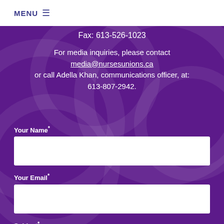MENU ☰
Fax: 613-526-1023
For media inquiries, please contact media@nursesunions.ca or call Adella Khan, communications officer, at: 613-807-2942.
Your Name*
Your Email*
Subject*